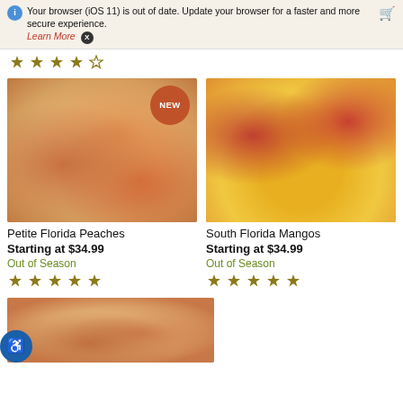Your browser (iOS 11) is out of date. Update your browser for a faster and more secure experience. Learn More X
[Figure (photo): Petite Florida Peaches - basket of peaches with sliced peach on cutting board, NEW badge overlay]
Petite Florida Peaches
Starting at $34.99
Out of Season
[Figure (photo): South Florida Mangos - sliced mangos displayed on white surface with whole mangos around]
South Florida Mangos
Starting at $34.99
Out of Season
[Figure (photo): Partial view of another fruit product at bottom of page]